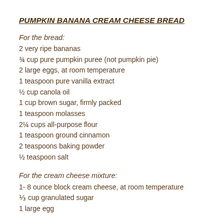PUMPKIN BANANA CREAM CHEESE BREAD
For the bread:
2 very ripe bananas
¾ cup pure pumpkin puree (not pumpkin pie)
2 large eggs, at room temperature
1 teaspoon pure vanilla extract
½ cup canola oil
1 cup brown sugar, firmly packed
1 teaspoon molasses
2¼ cups all-purpose flour
1 teaspoon ground cinnamon
2 teaspoons baking powder
½ teaspoon salt
For the cream cheese mixture:
1- 8 ounce block cream cheese, at room temperature
⅓ cup granulated sugar
1 large egg